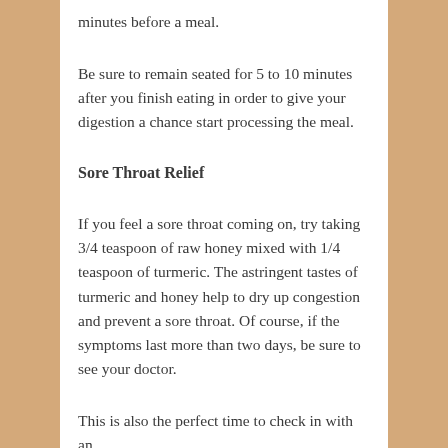minutes before a meal.
Be sure to remain seated for 5 to 10 minutes after you finish eating in order to give your digestion a chance start processing the meal.
Sore Throat Relief
If you feel a sore throat coming on, try taking 3/4 teaspoon of raw honey mixed with 1/4 teaspoon of turmeric. The astringent tastes of turmeric and honey help to dry up congestion and prevent a sore throat. Of course, if the symptoms last more than two days, be sure to see your doctor.
This is also the perfect time to check in with an